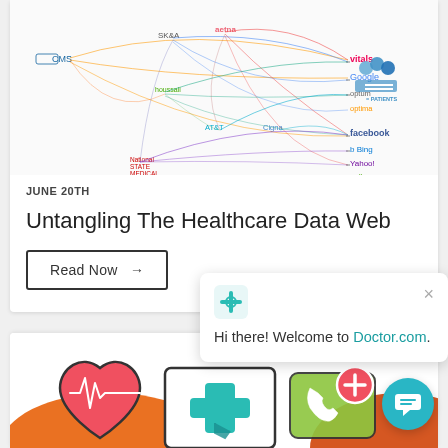[Figure (network-graph): Complex network diagram showing data connections between healthcare entities: CMS, SK&A, aetna, houssali, AT&T, Cigna, State Medical Boards on the left; vitals, Google, Optum, facebook, Bing, Yahoo, wellness on the right; with colored connector lines and a legend/patients icon in the top right.]
JUNE 20TH
Untangling The Healthcare Data Web
Read Now →
Hi there! Welcome to Doctor.com.
[Figure (illustration): Healthcare illustration showing a heart with heartbeat line, a medical cross/phone icon, a smartphone with medical cross, and a speech bubble with plus sign, on orange/teal background accents.]